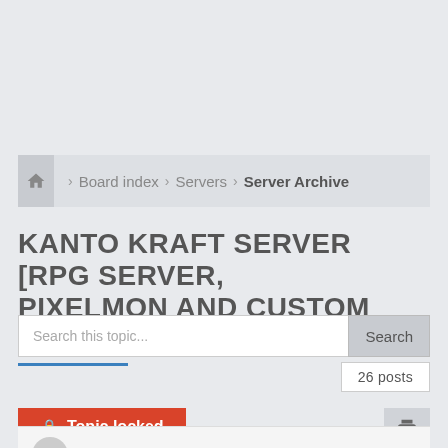Board index > Servers > Server Archive
KANTO KRAFT SERVER [RPG SERVER, PIXELMON AND CUSTOM NPCS]
Search this topic...
26 posts
Topic locked
RE: KANTO KRAFT SERVER [RPG